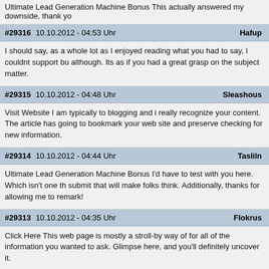Ultimate Lead Generation Machine Bonus This actually answered my downside, thank yo
#29316 10.10.2012 - 04:53 Uhr Hafup — I should say, as a whole lot as I enjoyed reading what you had to say, I couldnt support bu although. Its as if you had a great grasp on the subject matter.
#29315 10.10.2012 - 04:48 Uhr Sleashous — Visit Website I am typically to blogging and i really recognize your content. The article has going to bookmark your web site and preserve checking for new information.
#29314 10.10.2012 - 04:44 Uhr Tasliln — Ultimate Lead Generation Machine Bonus I'd have to test with you here. Which isn't one th submit that will make folks think. Additionally, thanks for allowing me to remark!
#29313 10.10.2012 - 04:35 Uhr Flokrus — Click Here This web page is mostly a stroll-by way of for all of the information you wanted to ask. Glimpse here, and you'll definitely uncover it.
#29312 10.10.2012 - 04:33 Uhr Pluskiey — I should say, as a whole lot as I enjoyed reading what you had to say, I couldnt support bu although. Its as if you had a great grasp on the subject matter.
#29311 10.10.2012 - 04:19 Uhr Jaxoun — Keep up the wonderful work , I read few articles on this web site and I believe that your we has got circles of wonderful info .